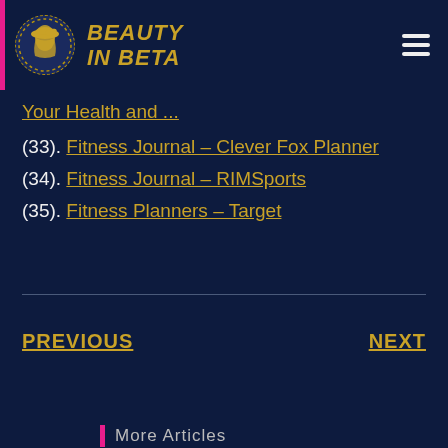[Figure (logo): Beauty In Beta website header with circular logo (woman silhouette) and gold italic brand name 'BEAUTY IN BETA', dark navy background with pink left border, hamburger menu icon top right]
Your Health and ...
(33). Fitness Journal – Clever Fox Planner
(34). Fitness Journal – RIMSports
(35). Fitness Planners – Target
PREVIOUS
NEXT
More Articles